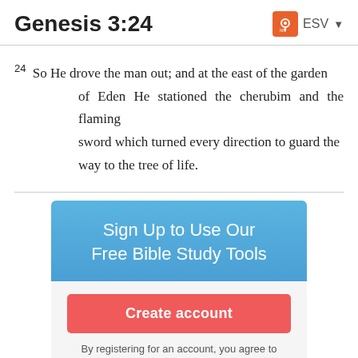Genesis 3:24
24 So He drove the man out; and at the east of the garden of Eden He stationed the cherubim and the flaming sword which turned every direction to guard the way to the tree of life.
[Figure (infographic): Sign Up to Use Our Free Bible Study Tools promotional box with a Create account button in red, and text 'By registering for an account, you agree to']
By registering for an account, you agree to